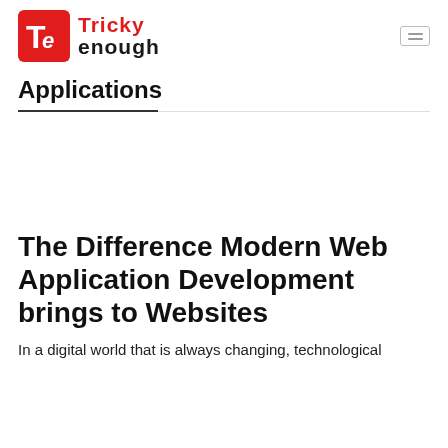[Figure (logo): Tricky Enough logo with red 'Te' icon and text 'Tricky enough']
Applications
The Difference Modern Web Application Development brings to Websites
In a digital world that is always changing, technological